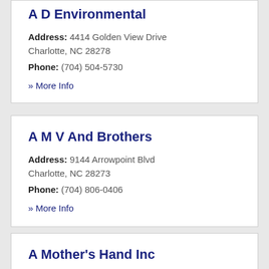A D Environmental
Address: 4414 Golden View Drive Charlotte, NC 28278
Phone: (704) 504-5730
» More Info
A M V And Brothers
Address: 9144 Arrowpoint Blvd Charlotte, NC 28273
Phone: (704) 806-0406
» More Info
A Mother's Hand Inc
Address: 7022 Woodbridge Valley Cir